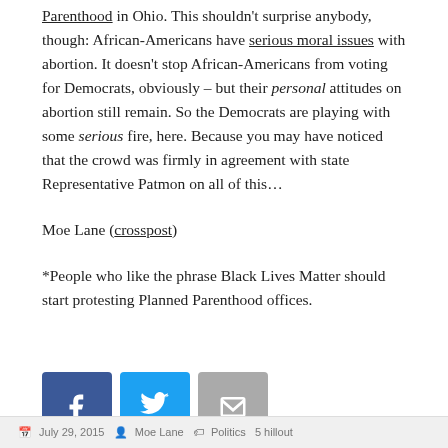Parenthood in Ohio. This shouldn't surprise anybody, though: African-Americans have serious moral issues with abortion. It doesn't stop African-Americans from voting for Democrats, obviously – but their personal attitudes on abortion still remain. So the Democrats are playing with some serious fire, here. Because you may have noticed that the crowd was firmly in agreement with state Representative Patmon on all of this...
Moe Lane (crosspost)
*People who like the phrase Black Lives Matter should start protesting Planned Parenthood offices.
[Figure (infographic): Social share buttons: Facebook (blue), Twitter (light blue), Email (grey)]
July 29, 2015 • Moe Lane • Politics • 5 hillout